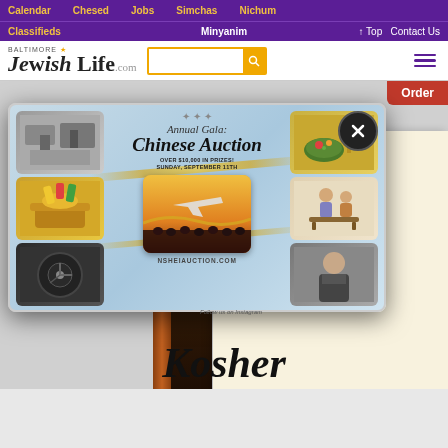Calendar  Chesed  Jobs  Simchas  Nichum
Classifieds  Minyanim  ↑ Top  Contact Us
[Figure (logo): Baltimore Jewish Life .com logo with search bar and hamburger menu]
[Figure (screenshot): Website screenshot showing a popup advertisement for Annual Gala Chinese Auction with prizes, date Sunday September, NSHEIAUCTION.COM, overlaid on a page showing 'Kosher' in cursive text and an Order button]
Annual Gala Chinese Auction OVER $10,000 IN PRIZES! SUNDAY, SEPTEMBER 11TH NSHEIAUCTION.COM
Kosher